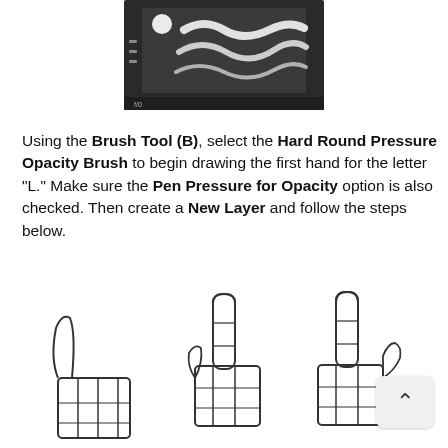[Figure (screenshot): Screenshot of Photoshop brush tool panel showing brush strokes preview with wavy white strokes on dark background]
Using the Brush Tool (B), select the Hard Round Pressure Opacity Brush to begin drawing the first hand for the letter "L." Make sure the Pen Pressure for Opacity option is also checked. Then create a New Layer and follow the steps below.
[Figure (illustration): Three hand-drawn sketches showing step-by-step hand positions for drawing the letter L: three sequential outline drawings of a hand making the L shape]